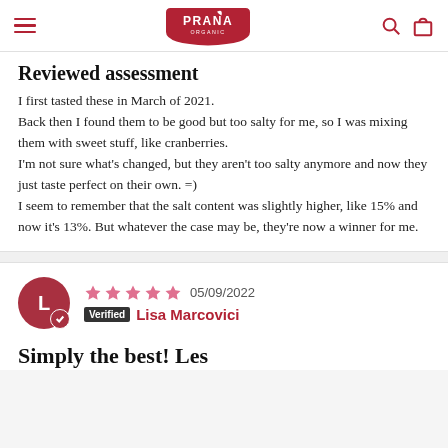PRANA ORGANIC
Reviewed assessment
I first tasted these in March of 2021.
Back then I found them to be good but too salty for me, so I was mixing them with sweet stuff, like cranberries.
I'm not sure what's changed, but they aren't too salty anymore and now they just taste perfect on their own. =)
I seem to remember that the salt content was slightly higher, like 15% and now it's 13%. But whatever the case may be, they're now a winner for me.
05/09/2022 Verified Lisa Marcovici
Simply the best! Les